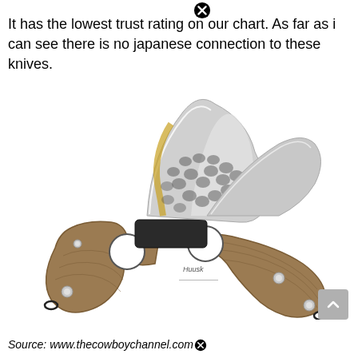It has the lowest trust rating on our chart. As far as i can see there is no japanese connection to these knives.
[Figure (photo): A knife with a curved hammered steel blade and a wooden handle with two circular cutouts and metal rivets, displayed crossed with another smaller blade.]
Source: www.thecowboychannel.com